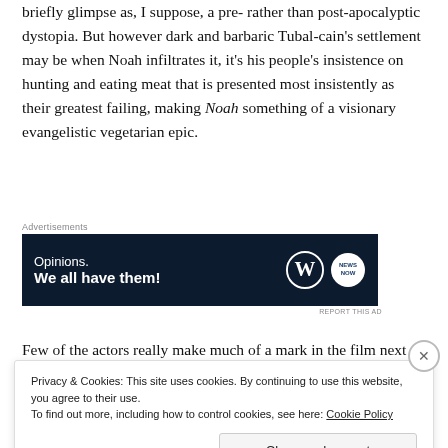briefly glimpse as, I suppose, a pre- rather than post-apocalyptic dystopia. But however dark and barbaric Tubal-cain's settlement may be when Noah infiltrates it, it's his people's insistence on hunting and eating meat that is presented most insistently as their greatest failing, making Noah something of a visionary evangelistic vegetarian epic.
[Figure (other): Advertisement banner with dark navy background reading 'Opinions. We all have them!' with WordPress and another logo on the right.]
Few of the actors really make much of a mark in the film next to
Privacy & Cookies: This site uses cookies. By continuing to use this website, you agree to their use.
To find out more, including how to control cookies, see here: Cookie Policy